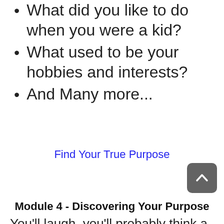What did you like to do when you were a kid?
What used to be your hobbies and interests?
And Many more...
Find Your True Purpose
Module 4 - Discovering Your Purpose
You'll laugh, you'll probably think a while